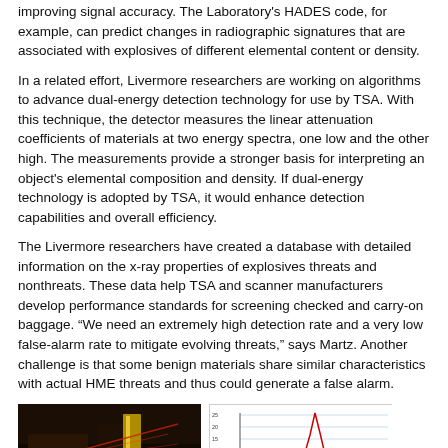improving signal accuracy. The Laboratory's HADES code, for example, can predict changes in radiographic signatures that are associated with explosives of different elemental content or density.
In a related effort, Livermore researchers are working on algorithms to advance dual-energy detection technology for use by TSA. With this technique, the detector measures the linear attenuation coefficients of materials at two energy spectra, one low and the other high. The measurements provide a stronger basis for interpreting an object's elemental composition and density. If dual-energy technology is adopted by TSA, it would enhance detection capabilities and overall efficiency.
The Livermore researchers have created a database with detailed information on the x-ray properties of explosives threats and nonthreats. These data help TSA and scanner manufacturers develop performance standards for screening checked and carry-on baggage. “We need an extremely high detection rate and a very low false-alarm rate to mitigate evolving threats,” says Martz. Another challenge is that some benign materials share similar characteristics with actual HME threats and thus could generate a false alarm.
[Figure (photo): Dark-background photo showing equipment with yellow and red laser or light streaks, laboratory setting.]
[Figure (line-chart): Line chart with a sharp peak, red line, on a white background with light blue horizontal gridlines. Y-axis labels visible on left side.]